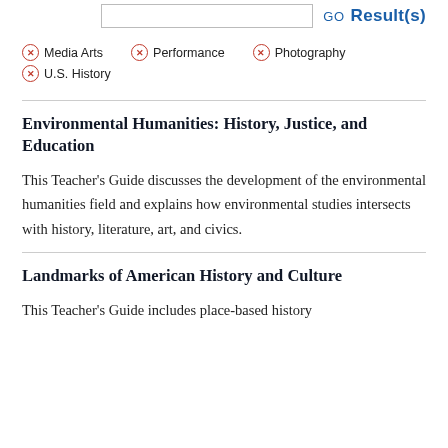Media Arts
Performance
Photography
U.S. History
Environmental Humanities: History, Justice, and Education
This Teacher's Guide discusses the development of the environmental humanities field and explains how environmental studies intersects with history, literature, art, and civics.
Landmarks of American History and Culture
This Teacher's Guide includes place-based history